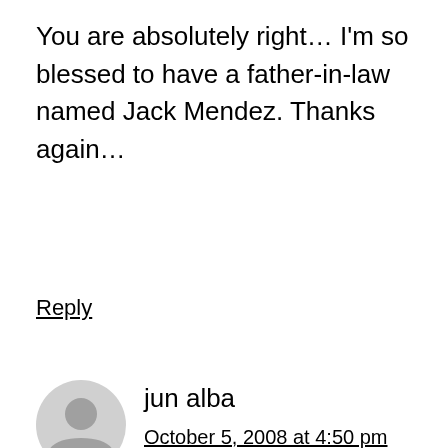You are absolutely right… I'm so blessed to have a father-in-law named Jack Mendez. Thanks again…
Reply
[Figure (illustration): Generic user avatar icon — grey silhouette of a person on light grey circle background]
jun alba
October 5, 2008 at 4:50 pm
i was googling old family and friends and i stumble in to your blog. well said, and it is an amazing journey for the mendez family. i